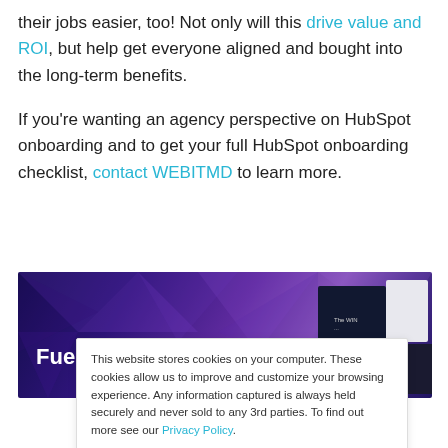their jobs easier, too! Not only will this drive value and ROI, but help get everyone aligned and bought into the long-term benefits.
If you're wanting an agency perspective on HubSpot onboarding and to get your full HubSpot onboarding checklist, contact WEBITMD to learn more.
[Figure (infographic): Dark purple/indigo banner with geometric faceted background, text 'Fuel Your Growth' in white bold font on the left, and book/guide images on the right side.]
This website stores cookies on your computer. These cookies allow us to improve and customize your browsing experience. Any information captured is always held securely and never sold to any 3rd parties. To find out more see our Privacy Policy.